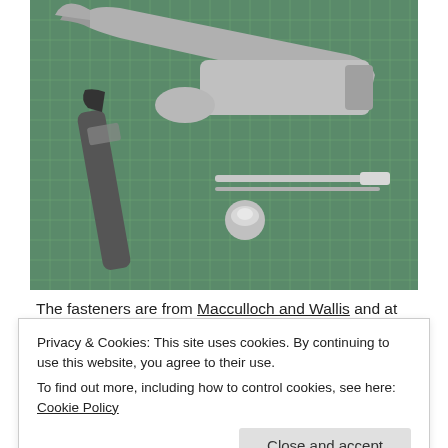[Figure (photo): A claw hammer with a worn handle lying on a green cutting mat, alongside a nail set and a small metal fastener/snap cap component.]
The fasteners are from Macculloch and Wallis and at the time of writing are available here. One of the
Privacy & Cookies: This site uses cookies. By continuing to use this website, you agree to their use.
To find out more, including how to control cookies, see here: Cookie Policy
Close and accept
Stitching straps to handbags: To start the best fasteners are available like the discreet gift and